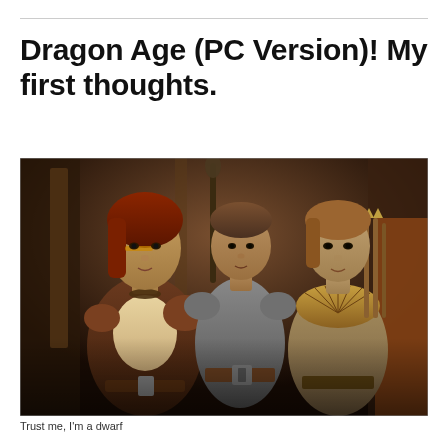Dragon Age (PC Version)! My first thoughts.
[Figure (photo): Screenshot from Dragon Age video game showing three characters standing together: a female warrior in brown leather armor with facial markings and red hair on the left, a male character in grey/silver armor in the center background, and a male character in a tan/green tunic with a feathered collar and arrows on his back on the right. The scene is set in a dimly lit stone environment.]
Trust me, I'm a dwarf